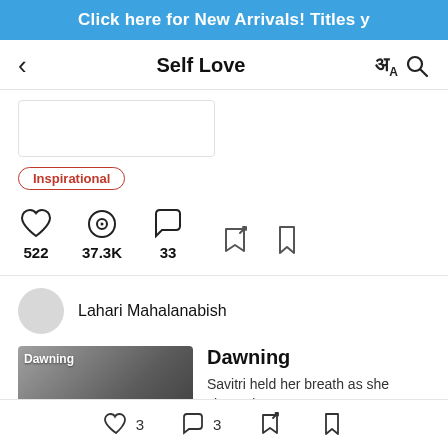Click here for New Arrivals! Titles y
Self Love
Inspirational
522  37.3K  33
Lahari Mahalanabish
Dawning
Savitri held her breath as she chewed
3  3